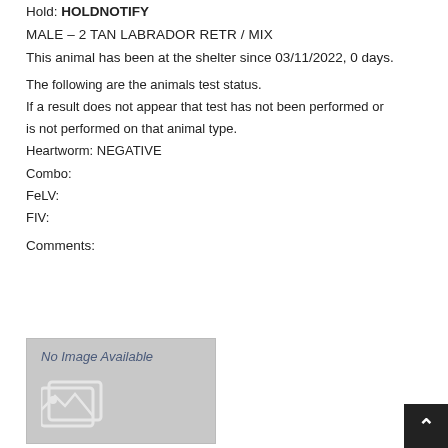Hold: HOLDNOTIFY
MALE – 2 TAN LABRADOR RETR / MIX
This animal has been at the shelter since 03/11/2022, 0 days.
The following are the animals test status.
If a result does not appear that test has not been performed or is not performed on that animal type.
Heartworm: NEGATIVE
Combo:
FeLV:
FIV:
Comments:
[Figure (illustration): No Image Available placeholder with a gray background and a white image icon]